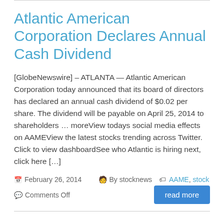Atlantic American Corporation Declares Annual Cash Dividend
[GlobeNewswire] – ATLANTA — Atlantic American Corporation today announced that its board of directors has declared an annual cash dividend of $0.02 per share. The dividend will be payable on April 25, 2014 to shareholders … moreView todays social media effects on AAMEView the latest stocks trending across Twitter. Click to view dashboardSee who Atlantic is hiring next, click here […]
February 26, 2014   By stocknews   AAME, stock   Comments Off
Atlantic American Announces